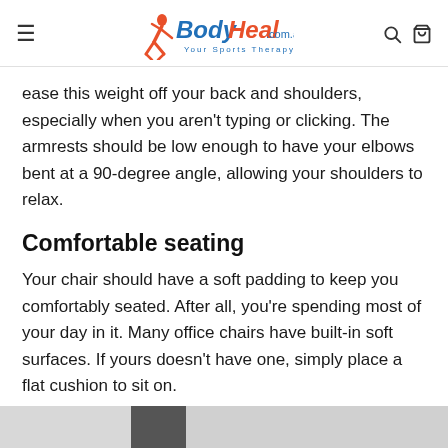BodyHeal.com.au — Your Sports Therapy Shop
ease this weight off your back and shoulders, especially when you aren't typing or clicking. The armrests should be low enough to have your elbows bent at a 90-degree angle, allowing your shoulders to relax.
Comfortable seating
Your chair should have a soft padding to keep you comfortably seated. After all, you're spending most of your day in it. Many office chairs have built-in soft surfaces. If yours doesn't have one, simply place a flat cushion to sit on.
[Figure (photo): Bottom strip showing partial image of an office chair or seating surface]